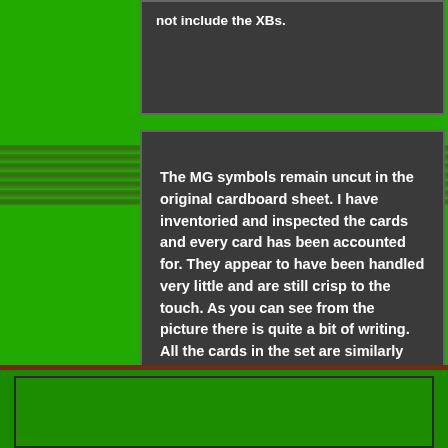not include the XBs.
The MG symbols remain uncut in the original cardboard sheet. I have inventoried and inspected the cards and every card has been accounted for. They appear to have been handled very little and are still crisp to the touch. As you can see from the picture there is quite a bit of writing. All the cards in the set are similarly marked. No card results have been crossed out. Other than the writing they are in nice shape. I would grade them 3-4 on a 10 scale (see condition guide below).
[Figure (photo): Bottom area showing a green surface, partially visible, with a dark brown border strip at the top of this section.]